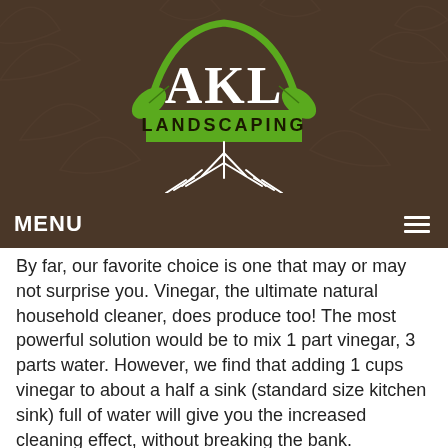[Figure (logo): AKL Landscaping logo with green arc, leaves, white roots, and green banner reading LANDSCAPING on a brown background with leaf pattern]
MENU
By far, our favorite choice is one that may or may not surprise you. Vinegar, the ultimate natural household cleaner, does produce too! The most powerful solution would be to mix 1 part vinegar, 3 parts water. However, we find that adding 1 cups vinegar to about a half a sink (standard size kitchen sink) full of water will give you the increased cleaning effect, without breaking the bank.
-Clean your sink before filling with water.